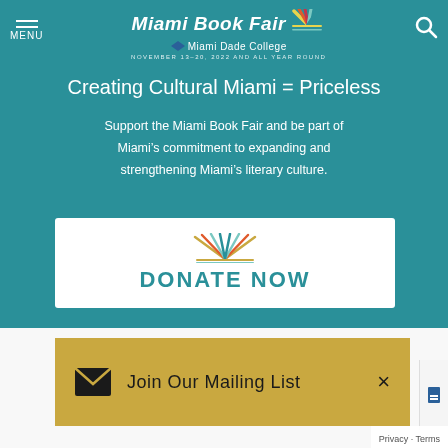[Figure (screenshot): Miami Book Fair logo with colorful book pages graphic and Miami Dade College branding, with date text 'NOVEMBER 13-20, 2022 AND ALL YEAR ROUND']
Creating Cultural Miami = Priceless
Support the Miami Book Fair and be part of Miami’s commitment to expanding and strengthening Miami’s literary culture.
[Figure (logo): DONATE NOW button with decorative sunburst/book pages icon above text]
Join Our Mailing List
Privacy · Terms